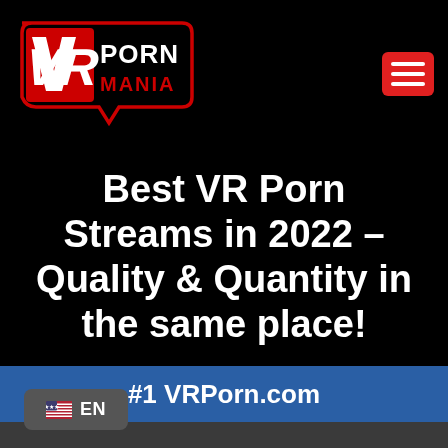[Figure (logo): VR Porn Mania logo — red stylized VR icon on left with 'PORN MANIA' text in white/red on black shield-shaped background]
Best VR Porn Streams in 2022 – Quality & Quantity in the same place!
#1 VRPorn.com
EN